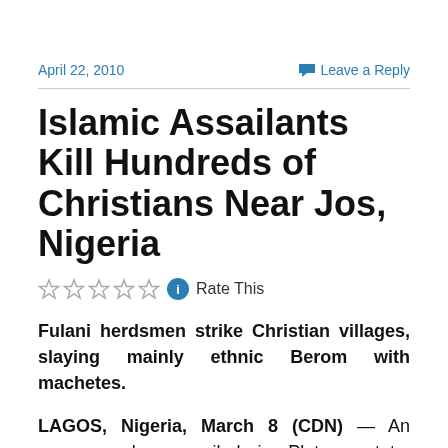April 22, 2010   Leave a Reply
Islamic Assailants Kill Hundreds of Christians Near Jos, Nigeria
Rate This
Fulani herdsmen strike Christian villages, slaying mainly ethnic Berom with machetes.
LAGOS, Nigeria, March 8 (CDN) — An uneasy calm prevailed in Plateau state, Nigeria today following the